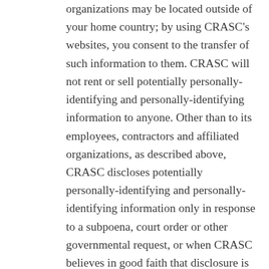organizations may be located outside of your home country; by using CRASC's websites, you consent to the transfer of such information to them. CRASC will not rent or sell potentially personally-identifying and personally-identifying information to anyone. Other than to its employees, contractors and affiliated organizations, as described above, CRASC discloses potentially personally-identifying and personally-identifying information only in response to a subpoena, court order or other governmental request, or when CRASC believes in good faith that disclosure is reasonably necessary to protect the property or rights of CRASC, third parties or the public at large. If you are a registered user of a CRASC website and have supplied your email address, CRASC may occasionally send you an email to tell you about new features, solicit your feedback, or just keep you up to date with what's